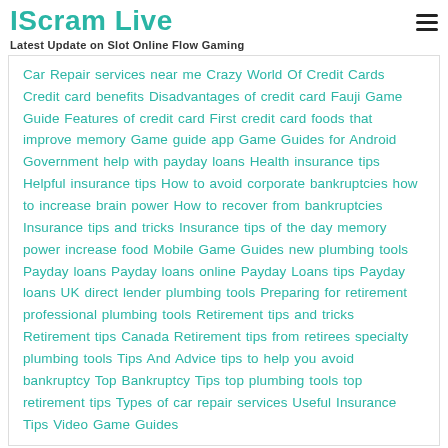IScram Live
Latest Update on Slot Online Flow Gaming
Car Repair services near me Crazy World Of Credit Cards Credit card benefits Disadvantages of credit card Fauji Game Guide Features of credit card First credit card foods that improve memory Game guide app Game Guides for Android Government help with payday loans Health insurance tips Helpful insurance tips How to avoid corporate bankruptcies how to increase brain power How to recover from bankruptcies Insurance tips and tricks Insurance tips of the day memory power increase food Mobile Game Guides new plumbing tools Payday loans Payday loans online Payday Loans tips Payday loans UK direct lender plumbing tools Preparing for retirement professional plumbing tools Retirement tips and tricks Retirement tips Canada Retirement tips from retirees specialty plumbing tools Tips And Advice tips to help you avoid bankruptcy Top Bankruptcy Tips top plumbing tools top retirement tips Types of car repair services Useful Insurance Tips Video Game Guides